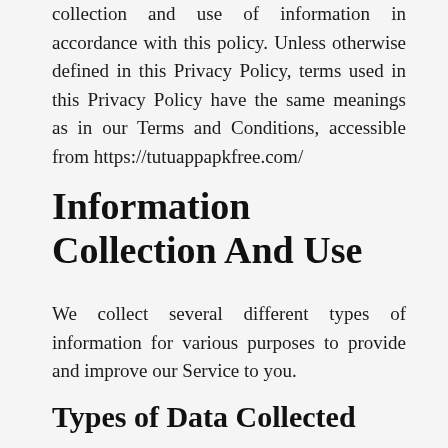collection and use of information in accordance with this policy. Unless otherwise defined in this Privacy Policy, terms used in this Privacy Policy have the same meanings as in our Terms and Conditions, accessible from https://tutuappapkfree.com/
Information Collection And Use
We collect several different types of information for various purposes to provide and improve our Service to you.
Types of Data Collected